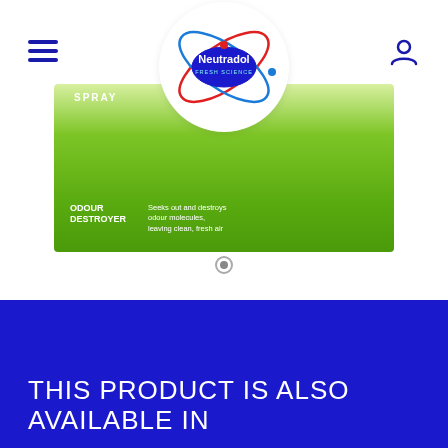[Figure (logo): Neutradol Fresh Science logo — atomic orbital design with blue ellipse center, red and blue orbital rings, text 'Neutradol FRESH SCIENCE']
[Figure (photo): Neutradol spray product box in green color showing 'SPRAY', 'ODOUR DESTROYER' text and description about seeking odour molecules leaving clean fresh air]
THIS PRODUCT IS ALSO AVAILABLE IN
THIS PRODUCT IS ALSO AVAILABLE IN